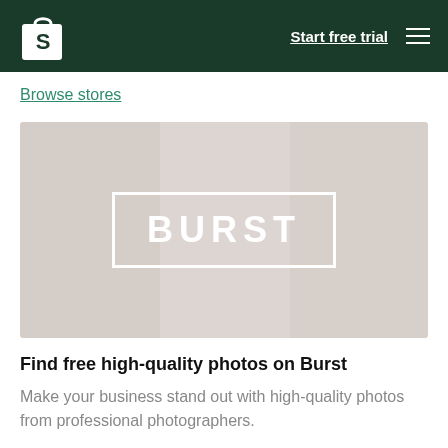Shopify logo | Start free trial | Menu
Browse stores
[Figure (photo): A faded/watermarked collage-style photo with a large white bordered box containing the text 'BURST' in white bold letters, representing the Burst free stock photos service.]
Find free high-quality photos on Burst
Make your business stand out with high-quality photos from professional photographers.